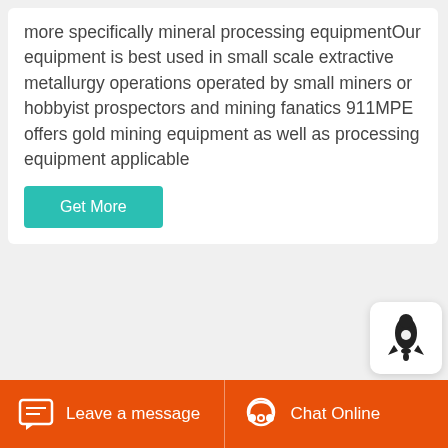more specifically mineral processing equipmentOur equipment is best used in small scale extractive metallurgy operations operated by small miners or hobbyist prospectors and mining fanatics 911MPE offers gold mining equipment as well as processing equipment applicable
[Figure (screenshot): Teal/green 'Get More' button on white card background]
[Figure (photo): Close-up photograph of red heavy mining/industrial equipment with a circular logo/badge and a yellow warning label, with green trees in background]
Leave a message
Chat Online